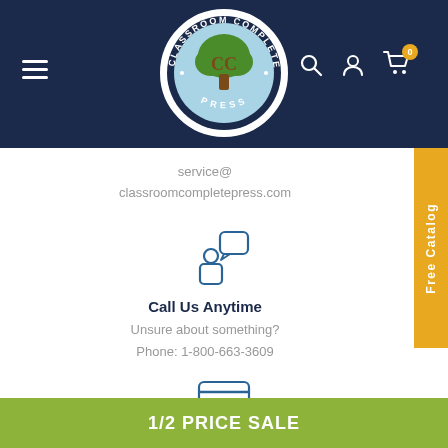[Figure (logo): Classroom Complete Press circular logo with green tree and 'CC' letters, navy background header bar with hamburger menu, search, account, and cart icons]
service@
classroomcompletepress.com
[Figure (illustration): Blue chat bubble with person icon (customer service)]
Call Us Anytime
Unsure about something?
Phone: 1-800-663-3609
[Figure (illustration): Credit card / payment icon with horizontal lines]
Free Catalog
1/2 PRICE SALE